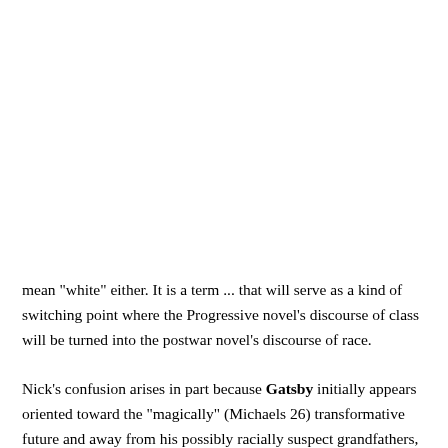mean "white" either. It is a term ... that will serve as a kind of switching point where the Progressive novel's discourse of class will be turned into the postwar novel's discourse of race.
Nick's confusion arises in part because Gatsby initially appears oriented toward the "magically" (Michaels 26) transformative future and away from his possibly racially suspect grandfathers, who, as Horace Kallen reminds us, cannot be changed (220).